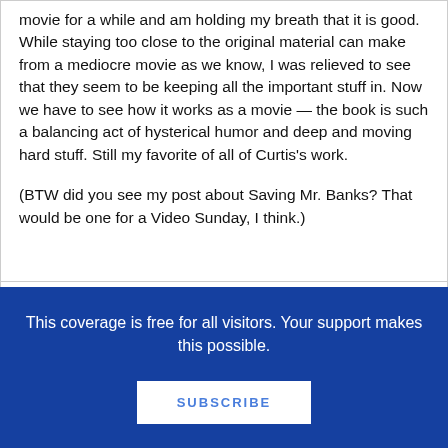movie for a while and am holding my breath that it is good. While staying too close to the original material can make from a mediocre movie as we know, I was relieved to see that they seem to be keeping all the important stuff in. Now we have to see how it works as a movie — the book is such a balancing act of hysterical humor and deep and moving hard stuff. Still my favorite of all of Curtis's work.
(BTW did you see my post about Saving Mr. Banks? That would be one for a Video Sunday, I think.)
This coverage is free for all visitors. Your support makes this possible.
SUBSCRIBE